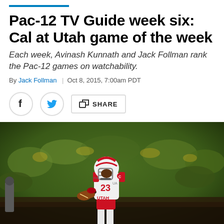Pac-12 TV Guide week six: Cal at Utah game of the week
Each week, Avinash Kunnath and Jack Follman rank the Pac-12 games on watchability.
By Jack Follman | Oct 8, 2015, 7:00am PDT
[Figure (photo): Utah Utes football player #23 in white uniform with red accents and C captain patch, running on field with blurred green crowd background]